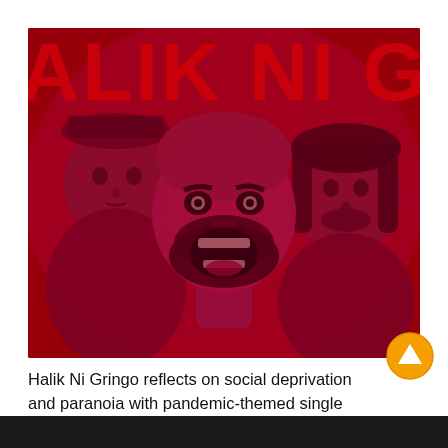[Figure (photo): A red-toned photo of three men from the band Halik Ni Gringo. The center man has a beard and is screaming with his mouth wide open. Behind them is large red text reading 'HALIK NI GRINGO' on a dark red background.]
Halik Ni Gringo reflects on social deprivation and paranoia with pandemic-themed single “HOME ALONE”